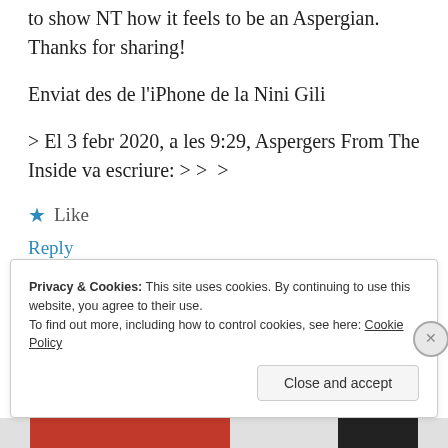to show NT how it feels to be an Aspergian. Thanks for sharing!
Enviat des de l'iPhone de la Nini Gili
> El 3 febr 2020, a les 9:29, Aspergers From The Inside va escriure: > >  >
★ Like
Reply
Privacy & Cookies: This site uses cookies. By continuing to use this website, you agree to their use.
To find out more, including how to control cookies, see here: Cookie Policy
Close and accept